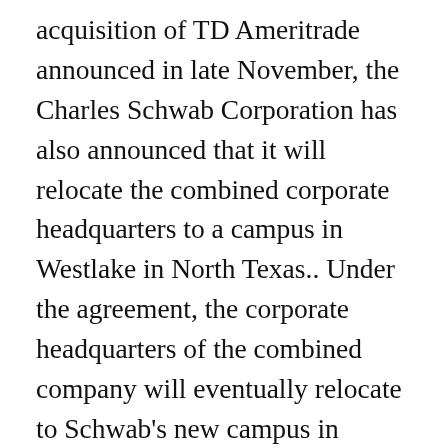acquisition of TD Ameritrade announced in late November, the Charles Schwab Corporation has also announced that it will relocate the combined corporate headquarters to a campus in Westlake in North Texas.. Under the agreement, the corporate headquarters of the combined company will eventually relocate to Schwab's new campus in Westlake, Texas. The Charles Schwab Corp.'s previously announced headquarters move to North Texas is getting closer.. View Company. Potomac Strategy president Matt Mackowiak on Charles Schwab moving to Texas for tax purposes and why the state is booming for business. Star-Telegram [Fort Worth, TX], by Domingo Ramirez Jr. An ongoing exodus from California to Texas has